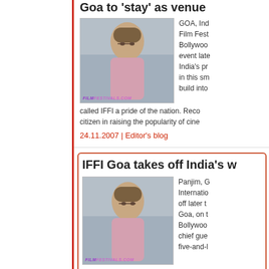Goa to 'stay' as venue
[Figure (photo): Photo of a person outdoors with filmfestivals.com watermark]
GOA, India — Film Festival Bollywood event later India's pr in this sm build into called IFFI a pride of the nation. Reco citizen in raising the popularity of cine
24.11.2007 | Editor's blog
IFFI Goa takes off India's w
[Figure (photo): Photo of a person outdoors with filmfestivals.com watermark]
Panjim, G Internatio off later t Goa, on t Bollywoo chief gue five-and-l lamp -- a traditional mark of inaugurati assistance of Priyamani, a rising star o
23.11.2007 | Editor's blog
Four Months 3 weeks 2 da